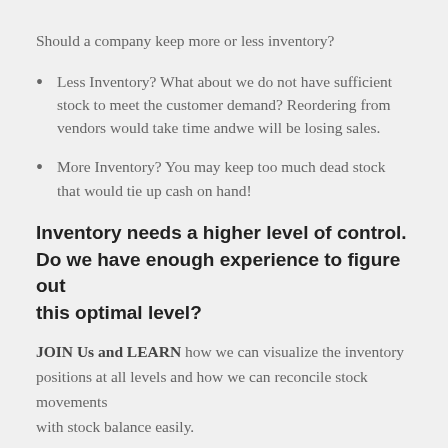Should a company keep more or less inventory?
Less Inventory? What about we do not have sufficient stock to meet the customer demand? Reordering from vendors would take time andwe will be losing sales.
More Inventory? You may keep too much dead stock that would tie up cash on hand!
Inventory needs a higher level of control. Do we have enough experience to figure out this optimal level?
JOIN Us and LEARN how we can visualize the inventory positions at all levels and how we can reconcile stock movements with stock balance easily.